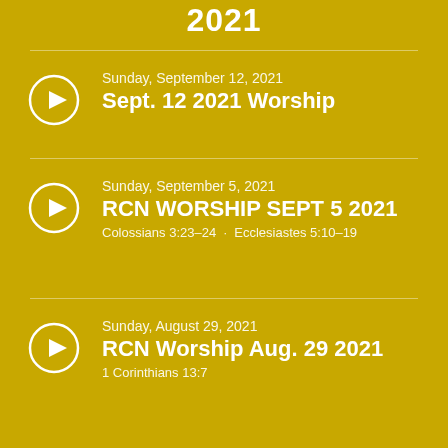2021
Sunday, September 12, 2021 | Sept. 12 2021 Worship
Sunday, September 5, 2021 | RCN WORSHIP SEPT 5 2021 | Colossians 3:23–24 · Ecclesiastes 5:10–19
Sunday, August 29, 2021 | RCN Worship Aug. 29 2021 | 1 Corinthians 13:7